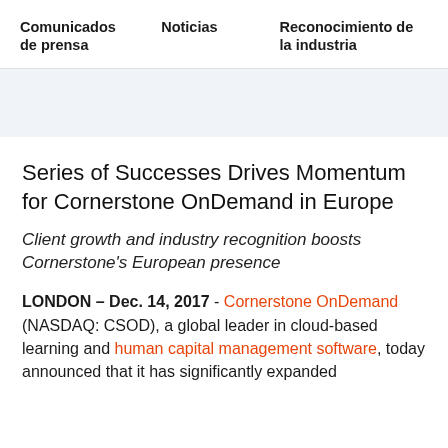Comunicados de prensa    Noticias    Reconocimiento de la industria
[Figure (other): Light blue-gray banner/hero image area]
Series of Successes Drives Momentum for Cornerstone OnDemand in Europe
Client growth and industry recognition boosts Cornerstone's European presence
LONDON – Dec. 14, 2017 - Cornerstone OnDemand (NASDAQ: CSOD), a global leader in cloud-based learning and human capital management software, today announced that it has significantly expanded